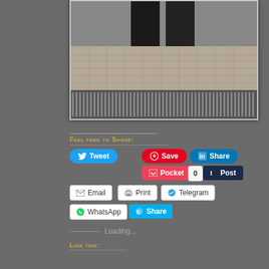[Figure (photo): Photo of a person standing on a tiled sidewalk pavement, wearing dark pants and black shoes. A metal drainage grate is visible at the bottom of the image.]
Feel free to Share:
Tweet
Save
Share
Pocket 0
Post
Email
Print
Telegram
WhatsApp
Share
Loading...
Like this: